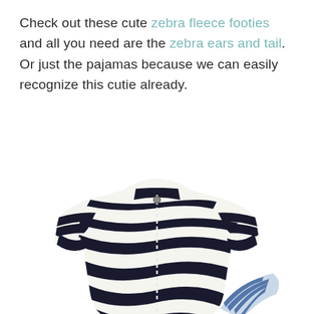Check out these cute zebra fleece footies and all you need are the zebra ears and tail. Or just the pajamas because we can easily recognize this cutie already.
[Figure (photo): A black and white zebra-striped baby footie pajama onesie displayed flat, with long sleeves and snaps down the front. In the bottom right corner is a small zebra-striped fabric item (hat or bandana).]